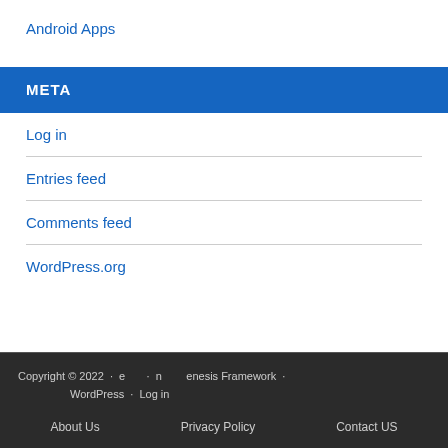Android Apps
META
Log in
Entries feed
Comments feed
WordPress.org
Copyright © 2022 · e · n · enesis Framework · WordPress · Log in
About Us   Privacy Policy   Contact US